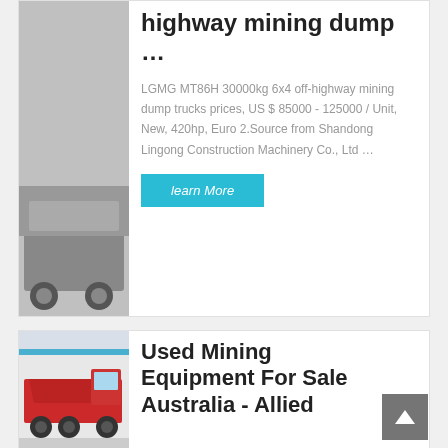[Figure (photo): Partial view of a mining dump truck (top portion cut off), shown as image placeholder]
highway mining dump …
LGMG MT86H 30000kg 6x4 off-highway mining dump trucks prices, US $ 85000 - 125000 / Unit, New, 420hp, Euro 2.Source from Shandong Lingong Construction Machinery Co., Ltd …
learn More
[Figure (photo): Red mining dump truck (Howo style) parked in a yard, side view]
Used Mining Equipment For Sale Australia - Allied